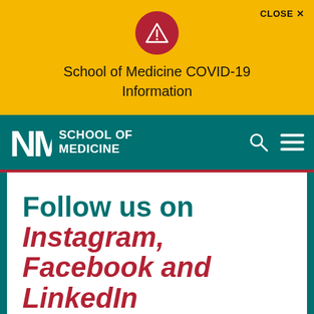[Figure (screenshot): Yellow alert banner with red warning triangle icon, text 'School of Medicine COVID-19 Information', and a CLOSE X button in top-right]
CLOSE ✕
School of Medicine COVID-19 Information
[Figure (logo): UNM School of Medicine logo in white on teal navigation bar with search and hamburger menu icons]
SCHOOL OF MEDICINE
Follow us on Instagram, Facebook and LinkedIn